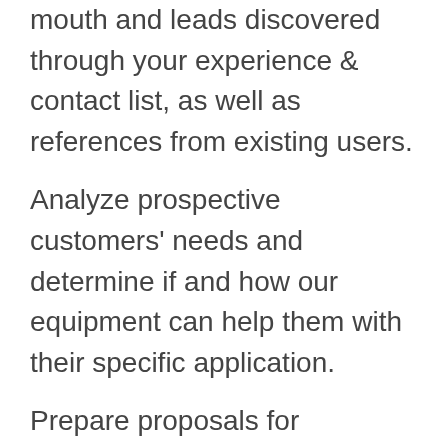mouth and leads discovered through your experience & contact list, as well as references from existing users.
Analyze prospective customers' needs and determine if and how our equipment can help them with their specific application.
Prepare proposals for prospects and close the sales.
Bring feedback to our marketing and design teams to improve our products and marketing efforts.